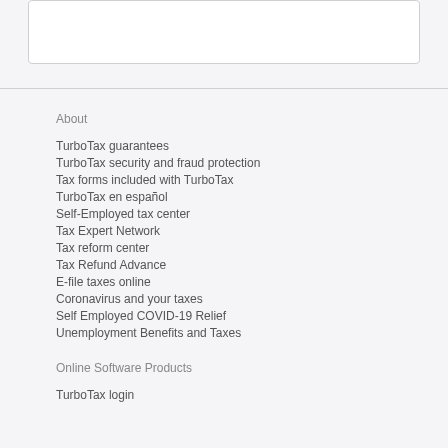About
TurboTax guarantees
TurboTax security and fraud protection
Tax forms included with TurboTax
TurboTax en español
Self-Employed tax center
Tax Expert Network
Tax reform center
Tax Refund Advance
E-file taxes online
Coronavirus and your taxes
Self Employed COVID-19 Relief
Unemployment Benefits and Taxes
Online Software Products
TurboTax login